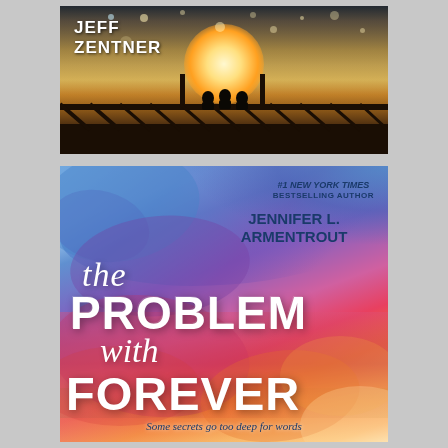[Figure (photo): Top book cover: 'Jeff Zentner' — photo of silhouettes of people sitting on a bridge railing at sunset with golden sunburst light and bokeh dots in the sky]
[Figure (photo): Bottom book cover: 'The Problem with Forever' by Jennifer L. Armentrout — colorful watercolor splash background in blues, purples, pinks, and oranges. Author credited as #1 New York Times Bestselling Author. Tagline: 'Some secrets go too deep for words']